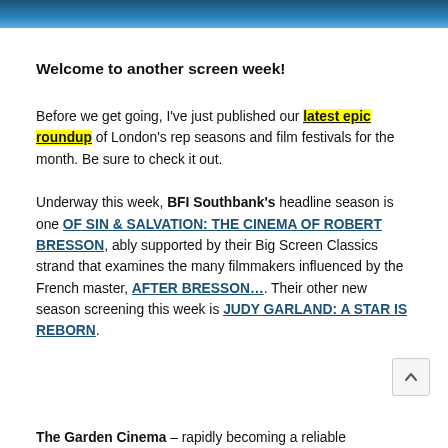[Figure (illustration): Dark blue decorative header banner with radiating fan/palm pattern]
Welcome to another screen week!
Before we get going, I've just published our latest epic roundup of London's rep seasons and film festivals for the month. Be sure to check it out.
Underway this week, BFI Southbank's headline season is one OF SIN & SALVATION: THE CINEMA OF ROBERT BRESSON, ably supported by their Big Screen Classics strand that examines the many filmmakers influenced by the French master, AFTER BRESSON…. Their other new season screening this week is JUDY GARLAND: A STAR IS REBORN.
The Garden Cinema – rapidly becoming a reliable